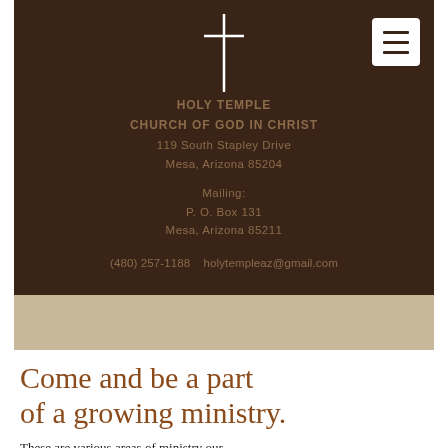[Figure (logo): White cross symbol centered in dark brown header, with white hamburger menu icon button in top-right corner]
HOLY TEMPLE
CHURCH OF GOD IN CHRIST
119 South Stapley Drive
Mesa, Arizona 85204

Mailing:
P. O. Box 131
Mesa, Arizona 85211

(480) 257-1188   holytempleaz@gmail.com
Come and be a part of a growing ministry.
These are various areas of ministry our church has to offer.